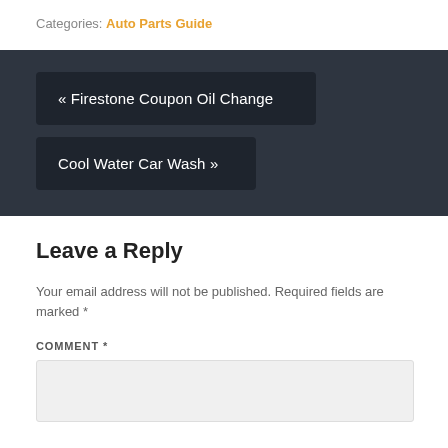Categories: Auto Parts Guide
« Firestone Coupon Oil Change
Cool Water Car Wash »
Leave a Reply
Your email address will not be published. Required fields are marked *
COMMENT *